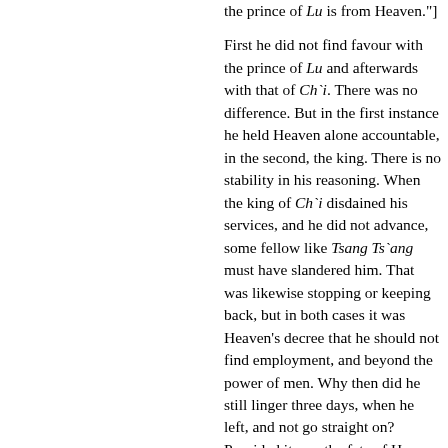the prince of Lu is from Heaven."]

First he did not find favour with the prince of Lu and afterwards with that of Ch`i. There was no difference. But in the first instance he held Heaven alone accountable, in the second, the king. There is no stability in his reasoning. When the king of Ch`i disdained his services, and he did not advance, some fellow like Tsang Ts`ang must have slandered him. That was likewise stopping or keeping back, but in both cases it was Heaven's decree that he should not find employment, and beyond the power of men. Why then did he still linger three days, when he left, and not go straight on? Provided it was the fate of Heaven that he should not meet with the king of Ch`i, who would not listen to his words, could Heaven have changed this fate within the space of three days, and bring about the interview? In Lu he gave all the credit